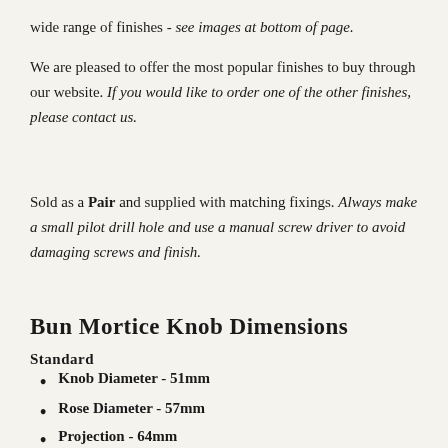wide range of finishes - see images at bottom of page.
We are pleased to offer the most popular finishes to buy through our website. If you would like to order one of the other finishes, please contact us.
Sold as a Pair and supplied with matching fixings. Always make a small pilot drill hole and use a manual screw driver to avoid damaging screws and finish.
Bun Mortice Knob Dimensions
Standard
Knob Diameter - 51mm
Rose Diameter - 57mm
Projection - 64mm